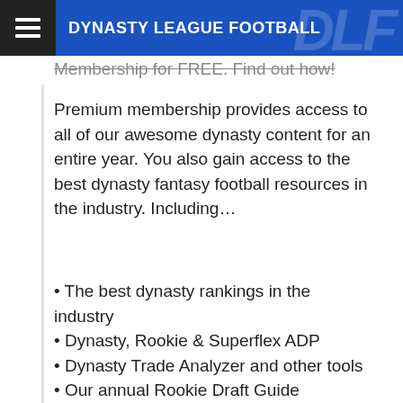DYNASTY LEAGUE FOOTBALL
Membership for FREE. Find out how!
Premium membership provides access to all of our awesome dynasty content for an entire year. You also gain access to the best dynasty fantasy football resources in the industry. Including…
The best dynasty rankings in the industry
Dynasty, Rookie & Superflex ADP
Dynasty Trade Analyzer and other tools
Our annual Rookie Draft Guide
365 days of content, tools, advice and support
And so much more!